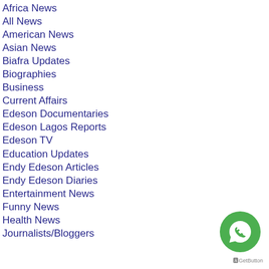Africa News
All News
American News
Asian News
Biafra Updates
Biographies
Business
Current Affairs
Edeson Documentaries
Edeson Lagos Reports
Edeson TV
Education Updates
Endy Edeson Articles
Endy Edeson Diaries
Entertainment News
Funny News
Health News
Journalists/Bloggers
[Figure (illustration): WhatsApp contact button (green circle with WhatsApp phone icon) and GetButton branding label below it]